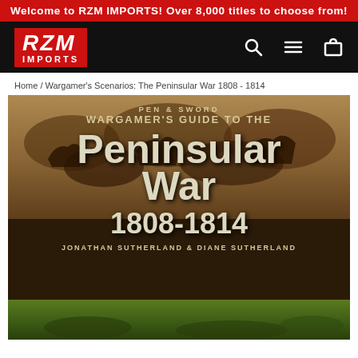Welcome to RZM IMPORTS! Over 8,000 titles to choose from!
[Figure (logo): RZM IMPORTS logo — white text on red background, italic bold RZM with IMPORTS below]
Home / Wargamer's Scenarios: The Peninsular War 1808 - 1814
[Figure (illustration): Book cover: Pen & Sword Wargamer's Guide to the Peninsular War 1808-1814 by Jonathan Sutherland & Diane Sutherland. Dark background with battle scene artwork at top and bottom, large cream/beige text.]